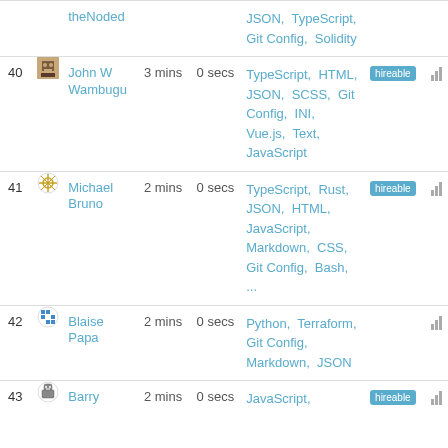| # |  | Name | Mins | Secs | Languages |  |  |
| --- | --- | --- | --- | --- | --- | --- | --- |
|  |  | theNoded |  |  | JSON, TypeScript, Git Config, Solidity |  |  |
| 40 |  | John W Wambugu | 3 mins | 0 secs | TypeScript, HTML, JSON, SCSS, Git Config, INI, Vue.js, Text, JavaScript | hireable |  |
| 41 |  | Michael Bruno | 2 mins | 0 secs | TypeScript, Rust, JSON, HTML, JavaScript, Markdown, CSS, Git Config, Bash, ... | hireable |  |
| 42 |  | Blaise Papa | 2 mins | 0 secs | Python, Terraform, Git Config, Markdown, JSON |  |  |
| 43 |  | Barry | 2 mins | 0 secs | JavaScript, | hireable |  |